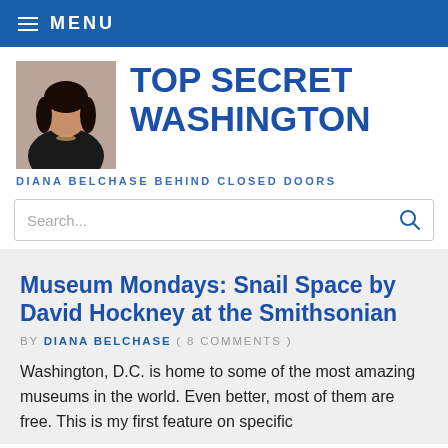MENU
TOP SECRET WASHINGTON
DIANA BELCHASE BEHIND CLOSED DOORS
Search...
Museum Mondays: Snail Space by David Hockney at the Smithsonian
BY DIANA BELCHASE ( 8 COMMENTS )
Washington, D.C. is home to some of the most amazing museums in the world. Even better, most of them are free. This is my first feature on specific